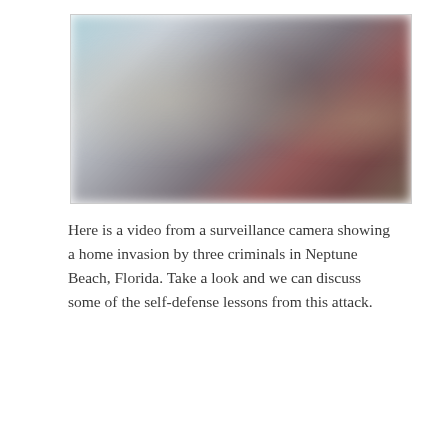[Figure (photo): A blurred surveillance camera still image showing what appears to be figures in a home invasion scene. The image is heavily blurred/pixelated, with bluish tones on the left and dark reddish-brown tones on the right.]
Here is a video from a surveillance camera showing a home invasion by three criminals in Neptune Beach, Florida. Take a look and we can discuss some of the self-defense lessons from this attack.